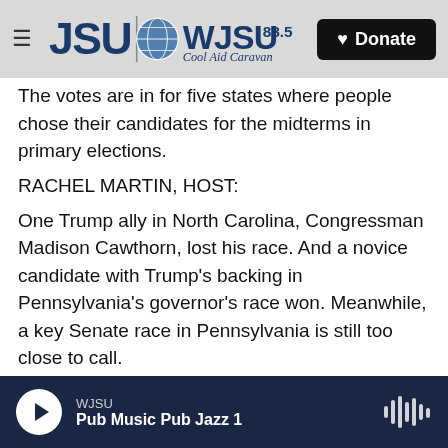JSU WJSU 88.5 Cool Aid Caravan | Donate
The votes are in for five states where people chose their candidates for the midterms in primary elections.
RACHEL MARTIN, HOST:
One Trump ally in North Carolina, Congressman Madison Cawthorn, lost his race. And a novice candidate with Trump's backing in Pennsylvania's governor's race won. Meanwhile, a key Senate race in Pennsylvania is still too close to call.
FADEL: NPR political correspondent Domenico Montanaro joins us now with the latest. Good
WJSU — Pub Music Pub Jazz 1